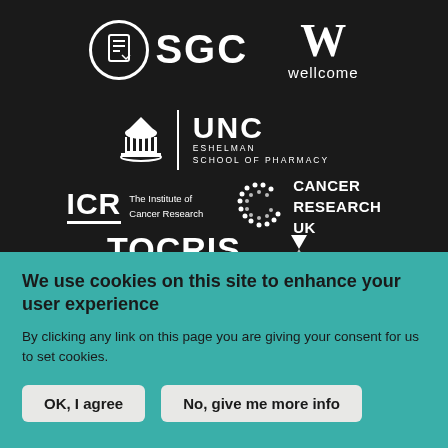[Figure (logo): SGC (Structural Genomics Consortium) logo — white circle icon with hand/book symbol and bold white SGC text]
[Figure (logo): Wellcome Trust logo — bold white W letter above 'wellcome' text]
[Figure (logo): UNC Eshelman School of Pharmacy logo — rotunda icon, vertical divider, UNC text and ESHELMAN SCHOOL OF PHARMACY subtitle]
[Figure (logo): ICR The Institute of Cancer Research logo — bold ICR with underline and text 'The Institute of Cancer Research']
[Figure (logo): Cancer Research UK logo — dot-pattern C shape with CANCER RESEARCH UK text]
[Figure (logo): TOCRIS logo text partially visible at bottom of dark section]
We use cookies on this site to enhance your user experience
By clicking any link on this page you are giving your consent for us to set cookies.
OK, I agree
No, give me more info